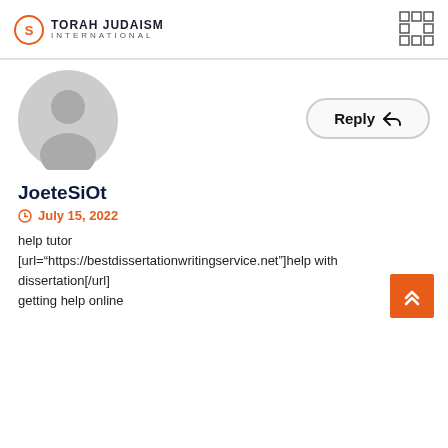TORAH JUDAISM INTERNATIONAL
[Figure (illustration): Generic grey user avatar circle]
Reply
JoeteSiOt
July 15, 2022
help tutor
[url="https://bestdissertationwritingservice.net"]help with dissertation[/url]
getting help online